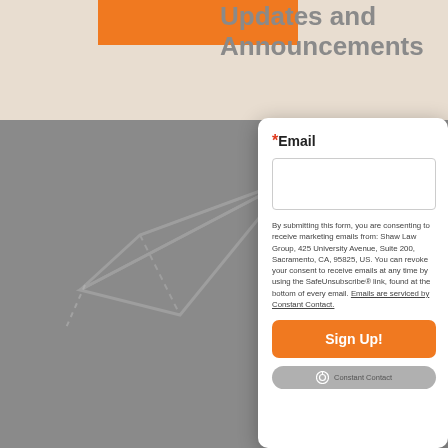Updates and Announcements
[Figure (illustration): Paper plane / send icon illustration in light gray on gray background]
*Email
By submitting this form, you are consenting to receive marketing emails from: Shaw Law Group, 425 University Avenue, Suite 200, Sacramento, CA, 95825, US. You can revoke your consent to receive emails at any time by using the SafeUnsubscribe® link, found at the bottom of every email. Emails are serviced by Constant Contact.
Sign Up!
[Figure (logo): Constant Contact logo badge]
Shaw Law Group
Main Office
425 University Avenue, Suite 200
Sacramento, CA 95825
Tel: (916) 640-[redacted]
Fax: (916) 640-2241